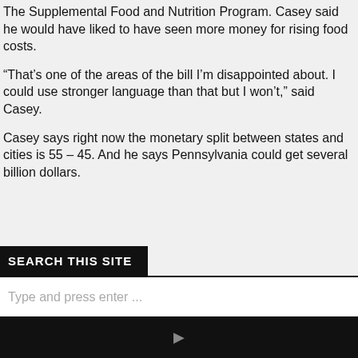The Supplemental Food and Nutrition Program. Casey said he would have liked to have seen more money for rising food costs.
“That’s one of the areas of the bill I’m disappointed about. I could use stronger language than that but I won’t,” said Casey.
Casey says right now the monetary split between states and cities is 55 – 45. And he says Pennsylvania could get several billion dollars.
SEARCH THIS SITE
Type and press enter ...